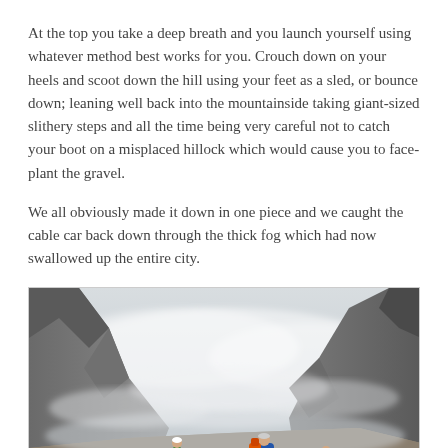At the top you take a deep breath and you launch yourself using whatever method best works for you. Crouch down on your heels and scoot down the hill using your feet as a sled, or bounce down; leaning well back into the mountainside taking giant-sized slithery steps and all the time being very careful not to catch your boot on a misplaced hillock which would cause you to face-plant the gravel.
We all obviously made it down in one piece and we caught the cable car back down through the thick fog which had now swallowed up the entire city.
[Figure (photo): A foggy mountain scene with rocky terrain. Several hikers with colorful backpacks (blue and orange) are visible in the foreground on a gravelly slope, surrounded by misty rocky cliffs and thick fog obscuring the background.]